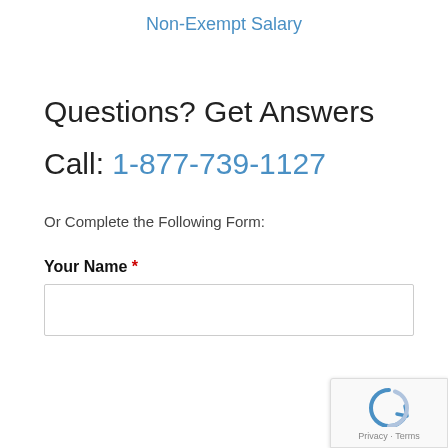Non-Exempt Salary
Questions? Get Answers
Call: 1-877-739-1127
Or Complete the Following Form:
Your Name *
[Figure (other): reCAPTCHA badge with arrow icon and Privacy - Terms text]